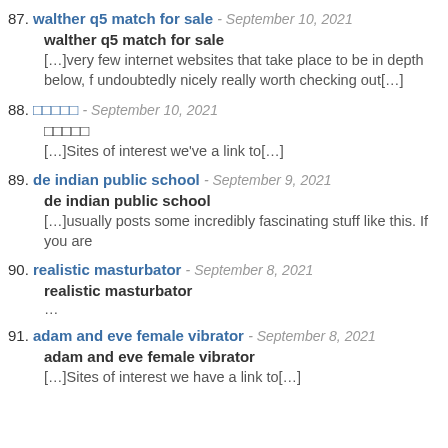87. walther q5 match for sale - September 10, 2021
walther q5 match for sale
[...]very few internet websites that take place to be in depth below, f undoubtedly nicely really worth checking out[...]
88. □□□□□ - September 10, 2021
□□□□□
[...]Sites of interest we've a link to[...]
89. de indian public school - September 9, 2021
de indian public school
[...]usually posts some incredibly fascinating stuff like this. If you are
90. realistic masturbator - September 8, 2021
realistic masturbator
...
91. adam and eve female vibrator - September 8, 2021
adam and eve female vibrator
[...]Sites of interest we have a link to[...]